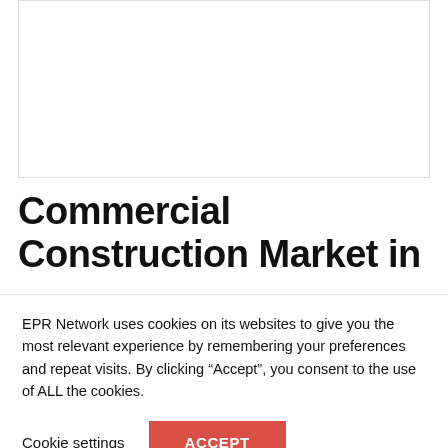[Figure (other): White empty content area with border, representing a blank image or placeholder at the top of the page]
Commercial Construction Market in
EPR Network uses cookies on its websites to give you the most relevant experience by remembering your preferences and repeat visits. By clicking “Accept”, you consent to the use of ALL the cookies.
Cookie settings  ACCEPT